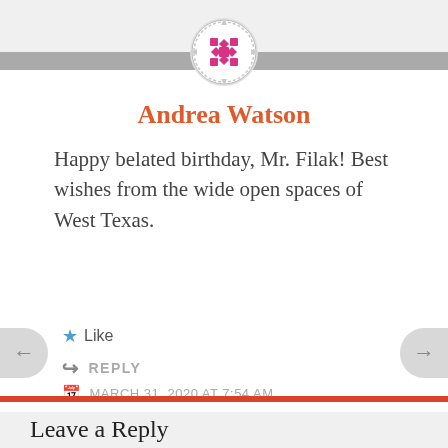[Figure (logo): Circular logo with pink/magenta decorative snowflake/quilt pattern on gray background bar]
Andrea Watson
Happy belated birthday, Mr. Filak! Best wishes from the wide open spaces of West Texas.
Like
REPLY
MARCH 31, 2020 AT 7:54 AM
Leave a Reply